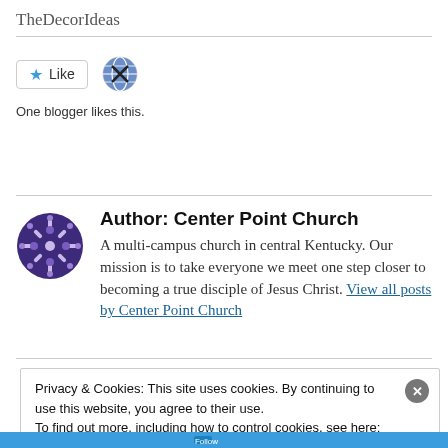TheDecorIdeas
[Figure (other): Like button with star icon and globe avatar icon]
One blogger likes this.
Author: Center Point Church
A multi-campus church in central Kentucky. Our mission is to take everyone we meet one step closer to becoming a true disciple of Jesus Christ. View all posts by Center Point Church
Privacy & Cookies: This site uses cookies. By continuing to use this website, you agree to their use.
To find out more, including how to control cookies, see here:
Cookie Policy
Close and accept